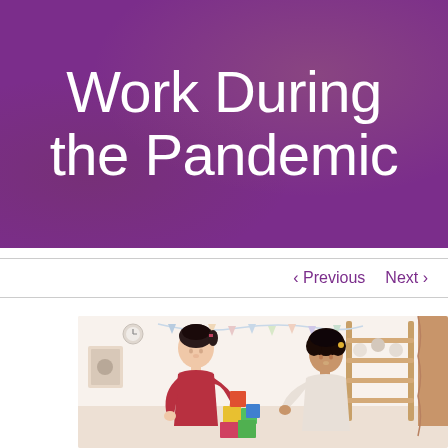Work During the Pandemic
< Previous   Next >
[Figure (photo): Two young children playing with colorful building blocks together in a bright, decorated playroom. One child has dark hair in a ponytail and wears a red top; the other has curly dark hair and wears a light-colored outfit. The background shows a wooden play structure, hanging decorations, and wall art.]